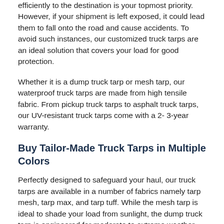efficiently to the destination is your topmost priority. However, if your shipment is left exposed, it could lead them to fall onto the road and cause accidents. To avoid such instances, our customized truck tarps are an ideal solution that covers your load for good protection.
Whether it is a dump truck tarp or mesh tarp, our waterproof truck tarps are made from high tensile fabric. From pickup truck tarps to asphalt truck tarps, our UV-resistant truck tarps come with a 2- 3-year warranty.
Buy Tailor-Made Truck Tarps in Multiple Colors
Perfectly designed to safeguard your haul, our truck tarps are available in a number of fabrics namely tarp mesh, tarp max, and tarp tuff. While the mesh tarp is ideal to shade your load from sunlight, the dump truck tarp is engineered for moderate to extreme weather. Made from tear and abrasion-resistant fabric, custom truck tarps are available in various colors.
Essential for a stress-free transit through rain or sunshine, our truck tarps fit every major manufacturer's trucks. Available with solid brass rust-free grommets, our truck